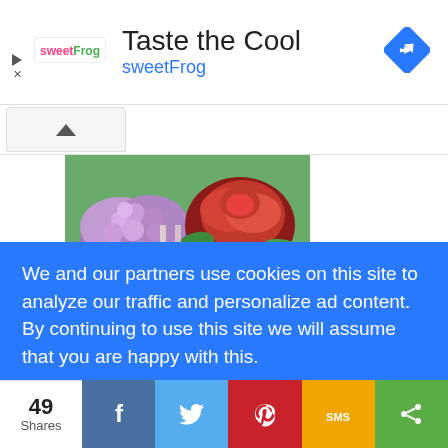[Figure (other): Advertisement banner for sweetFrog with text 'Taste the Cool' and 'sweetFrog' in blue, with sweetFrog logo and a blue navigation diamond icon]
[Figure (photo): Photo of pink and red flowers (hydrangea and rose) in a garden]
We and our partners use cookies on this site to analyze our traffic and personalize ad content. By continuing to use this site we will assume that you are happy with this.
Learn more
Got it!
49 Shares